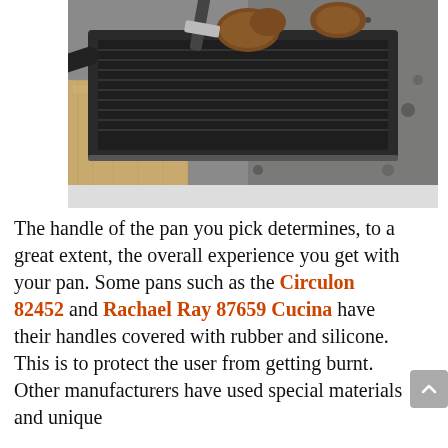[Figure (photo): A black griddle pan with burger patties cooking on a granite countertop, with a wooden cutting board visible on the left and a spatula lifting a patty.]
The handle of the pan you pick determines, to a great extent, the overall experience you get with your pan. Some pans such as the Circulon 82452 and Rachael Ray 87659 Cucina have their handles covered with rubber and silicone. This is to protect the user from getting burnt. Other manufacturers have used special materials and unique